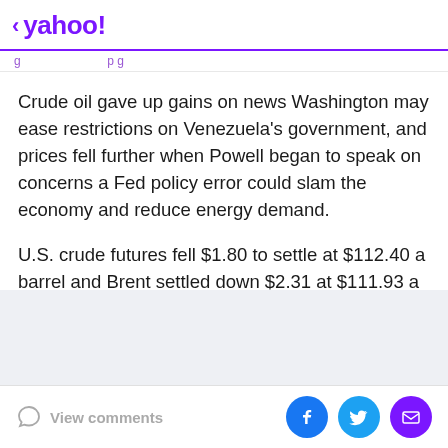< yahoo!
Crude oil gave up gains on news Washington may ease restrictions on Venezuela's government, and prices fell further when Powell began to speak on concerns a Fed policy error could slam the economy and reduce energy demand.
U.S. crude futures fell $1.80 to settle at $112.40 a barrel and Brent settled down $2.31 at $111.93 a barrel.
View comments